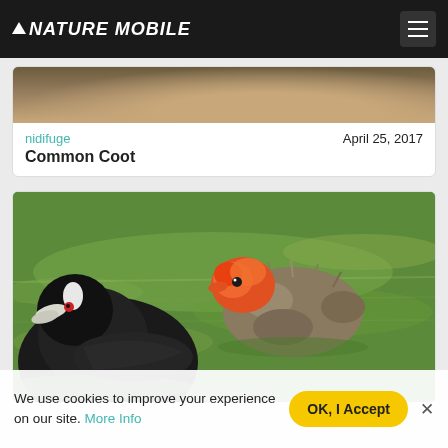NATURE MOBILE
[Figure (photo): Partial photo of a common coot bird and nest/water background]
nidifuge    April 25, 2017
Common Coot
[Figure (photo): An adult common coot (black bird with white beak) and a fluffy coot chick with red/orange head swimming on a green-tinted pond]
We use cookies to improve your experience on our site. More Info  OK, I Accept  x